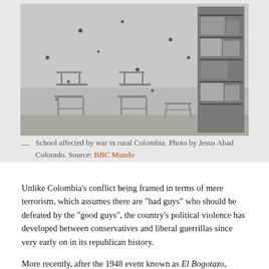[Figure (photo): Black and white photograph of a school classroom affected by war in rural Colombia. The room shows two school desks/chairs, bullet holes in the walls, and a bookshelf on the right side.]
— School affected by war in rural Colombia. Photo by Jesus Abad Colorado. Source: BBC Mundo
Unlike Colombia’s conflict being framed in terms of mere terrorism, which assumes there are “bad guys” who should be defeated by the “good guys”, the country’s political violence has developed between conservatives and liberal guerrillas since very early on in its republican history.
More recently, after the 1948 event known as El Bogotazo, confrontations between liberals and